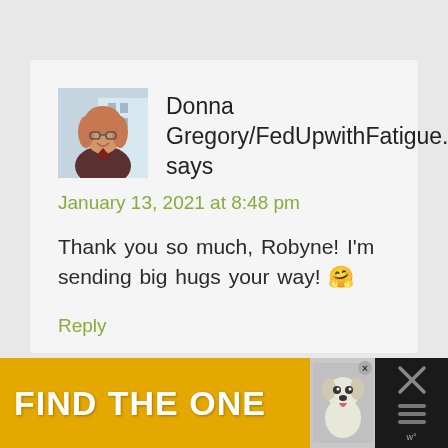[Figure (photo): Profile photo of a smiling woman with glasses and reddish-brown hair, wearing a dark jacket]
Donna Gregory/FedUpwithFatigue.com says
January 13, 2021 at 8:48 pm
Thank you so much, Robyne! I'm sending big hugs your way! 🤗
Reply
[Figure (photo): Advertisement banner with dark background, yellow section reading FIND THE ONE with a dog photo and close button]